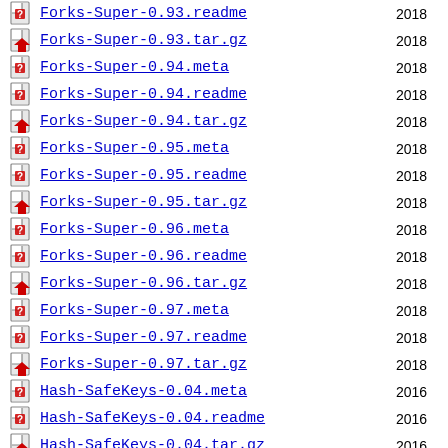Forks-Super-0.93.readme  2018
Forks-Super-0.93.tar.gz  2018
Forks-Super-0.94.meta  2018
Forks-Super-0.94.readme  2018
Forks-Super-0.94.tar.gz  2018
Forks-Super-0.95.meta  2018
Forks-Super-0.95.readme  2018
Forks-Super-0.95.tar.gz  2018
Forks-Super-0.96.meta  2018
Forks-Super-0.96.readme  2018
Forks-Super-0.96.tar.gz  2018
Forks-Super-0.97.meta  2018
Forks-Super-0.97.readme  2018
Forks-Super-0.97.tar.gz  2018
Hash-SafeKeys-0.04.meta  2016
Hash-SafeKeys-0.04.readme  2016
Hash-SafeKeys-0.04.tar.gz  2016